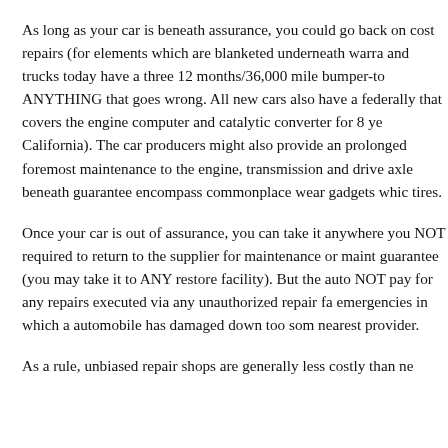As long as your car is beneath assurance, you could go back on cost repairs (for elements which are blanketed underneath warra... and trucks today have a three 12 months/36,000 mile bumper-to... ANYTHING that goes wrong. All new cars also have a federally... that covers the engine computer and catalytic converter for 8 ye... California). The car producers might also provide an prolonged ... foremost maintenance to the engine, transmission and drive axle... beneath guarantee encompass commonplace wear gadgets whic... tires.
Once your car is out of assurance, you can take it anywhere you... NOT required to return to the supplier for maintenance or maint... guarantee (you may take it to ANY restore facility). But the auto... NOT pay for any repairs executed via any unauthorized repair fa... emergencies in which a automobile has damaged down too som... nearest provider.
As a rule, unbiased repair shops are generally less costly than ne...